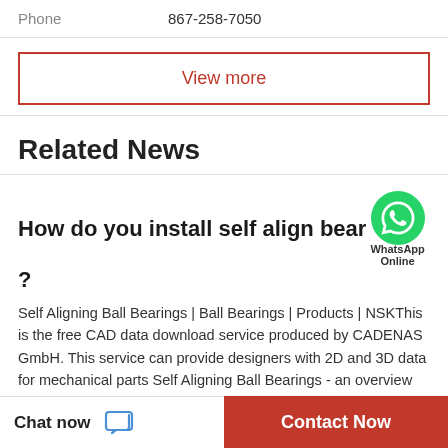Phone   867-258-7050
View more
Related News
How do you install self align bear...?
Self Aligning Ball Bearings | Ball Bearings | Products | NSKThis is the free CAD data download service produced by CADENAS GmbH. This service can provide designers with 2D and 3D data for mechanical parts Self Aligning Ball Bearings - an overview |...
What is a Fafnir Bearing?
Chat now
Contact Now